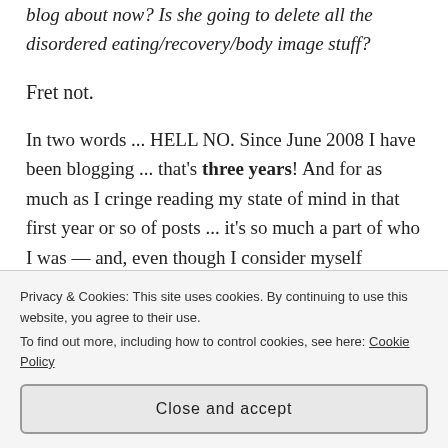blog about now? Is she going to delete all the disordered eating/recovery/body image stuff?
Fret not.
In two words ... HELL NO. Since June 2008 I have been blogging ... that’s three years! And for as much as I cringe reading my state of mind in that first year or so of posts ... it’s so much a part of who I was — and, even though I consider myself recovered, who I am. That struggle made me who I
Privacy & Cookies: This site uses cookies. By continuing to use this website, you agree to their use.
To find out more, including how to control cookies, see here: Cookie Policy
Close and accept